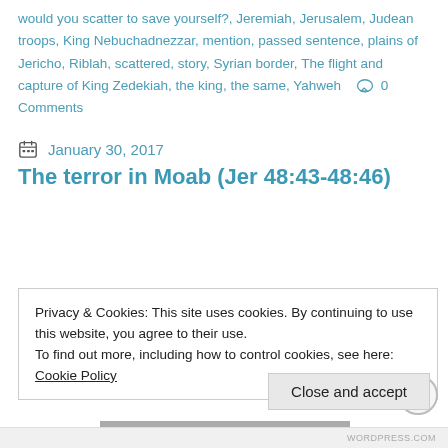would you scatter to save yourself?, Jeremiah, Jerusalem, Judean troops, King Nebuchadnezzar, mention, passed sentence, plains of Jericho, Riblah, scattered, story, Syrian border, The flight and capture of King Zedekiah, the king, the same, Yahweh   0 Comments
January 30, 2017
The terror in Moab (Jer 48:43-48:46)
Privacy & Cookies: This site uses cookies. By continuing to use this website, you agree to their use. To find out more, including how to control cookies, see here: Cookie Policy
Close and accept